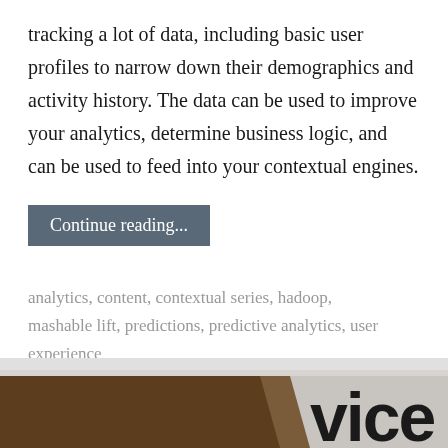tracking a lot of data, including basic user profiles to narrow down their demographics and activity history. The data can be used to improve your analytics, determine business logic, and can be used to feed into your contextual engines.
Continue reading...
analytics, content, contextual series, hadoop, mashable lift, predictions, predictive analytics, user experience
[Figure (photo): Partial view of a dark brown angled surface on the left and text reading 'vice' in large black letters on a light background on the right — appears to be a cropped image of a word like 'service' or 'device'.]